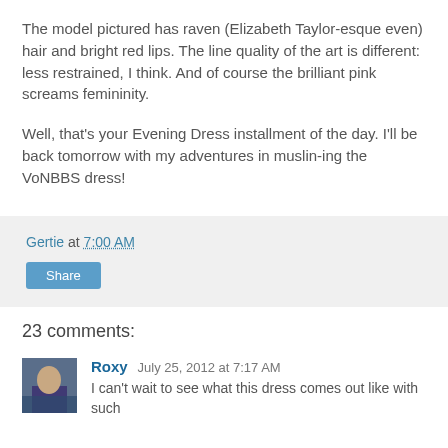The model pictured has raven (Elizabeth Taylor-esque even) hair and bright red lips. The line quality of the art is different: less restrained, I think. And of course the brilliant pink screams femininity.
Well, that's your Evening Dress installment of the day. I'll be back tomorrow with my adventures in muslin-ing the VoNBBS dress!
Gertie at 7:00 AM
Share
23 comments:
Roxy July 25, 2012 at 7:17 AM
I can't wait to see what this dress comes out like with such